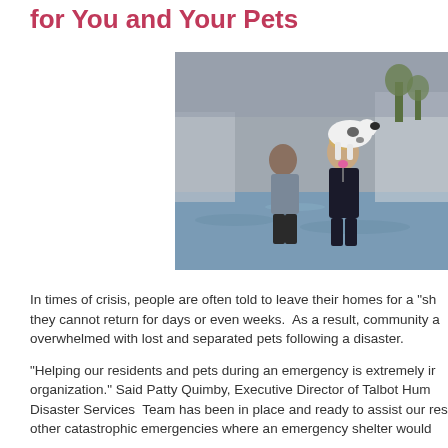for You and Your Pets
[Figure (photo): A woman carrying a large dog through floodwaters, with a man walking behind her in a flooded street or parking lot during a disaster.]
In times of crisis, people are often told to leave their homes for a "sh they cannot return for days or even weeks.  As a result, community a overwhelmed with lost and separated pets following a disaster.
"Helping our residents and pets during an emergency is extremely ir organization." Said Patty Quimby, Executive Director of Talbot Hum Disaster Services  Team has been in place and ready to assist our res other catastrophic emergencies where an emergency shelter would